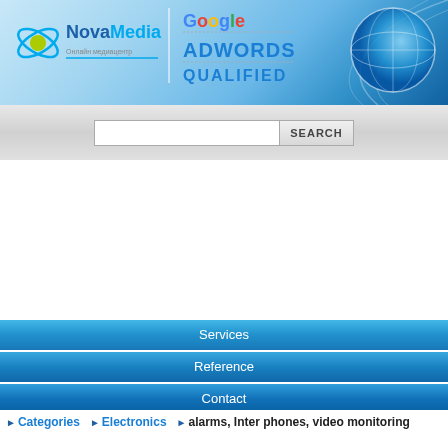[Figure (screenshot): NovaMedia company logo with globe/orbit icon and Google AdWords Qualified badge, with decorative blue globe graphic on right side]
[Figure (screenshot): Search bar with input field and SEARCH button on gray gradient background]
Services
Reference
Contact
Categories  Electronics  alarms, Inter phones, video monitoring